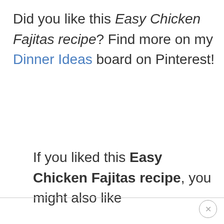Did you like this Easy Chicken Fajitas recipe? Find more on my Dinner Ideas board on Pinterest!
If you liked this Easy Chicken Fajitas recipe, you might also like